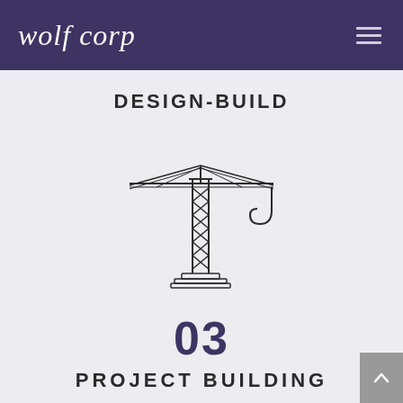wolf corp
DESIGN-BUILD
[Figure (engineering-diagram): Line art illustration of a tower crane with lattice mast, horizontal jib with cable lines, and a hook hanging from the right end.]
03
PROJECT BUILDING